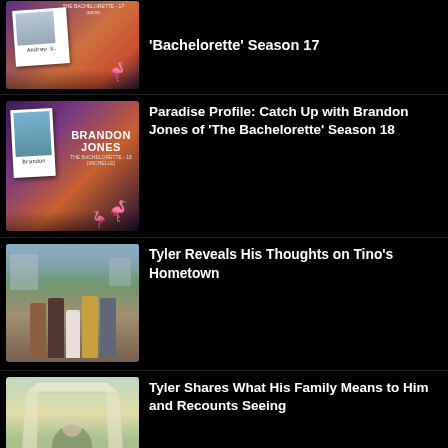[Figure (photo): Thumbnail for Bachelorette Season 17 article showing Andrew S. polaroid photo with flamingo decoration against purple-orange tropical background]
'The Bachelorette' Season 17
[Figure (photo): Thumbnail for Brandon Jones article showing polaroid photo with BRANDON JONES text overlay and flamingo decoration against purple-orange tropical background]
Paradise Profile: Catch Up with Brandon Jones of 'The Bachelorette' Season 18
[Figure (photo): Thumbnail showing group of five people standing together in a European-style outdoor setting with buildings and canal in background]
Tyler Reveals His Thoughts on Tino’s Hometown
[Figure (photo): Thumbnail showing person under tent canopy structure in outdoor green setting]
Tyler Shares What His Family Means to Him and Recounts Seeing